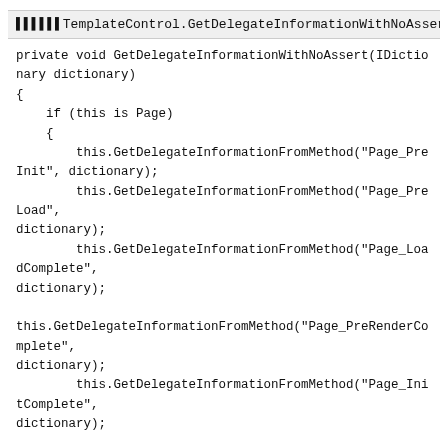▌▌▌▌▌▌TemplateControl.GetDelegateInformationWithNoAssert▌▌▌▌
private void GetDelegateInformationWithNoAssert(IDictionary dictionary)
{
    if (this is Page)
    {
        this.GetDelegateInformationFromMethod("Page_PreInit", dictionary);
        this.GetDelegateInformationFromMethod("Page_PreLoad",
dictionary);
        this.GetDelegateInformationFromMethod("Page_LoadComplete",
dictionary);

this.GetDelegateInformationFromMethod("Page_PreRenderComplete",
dictionary);
        this.GetDelegateInformationFromMethod("Page_InitComplete",
dictionary);

this.GetDelegateInformationFromMethod("Page_SaveStateComplete",